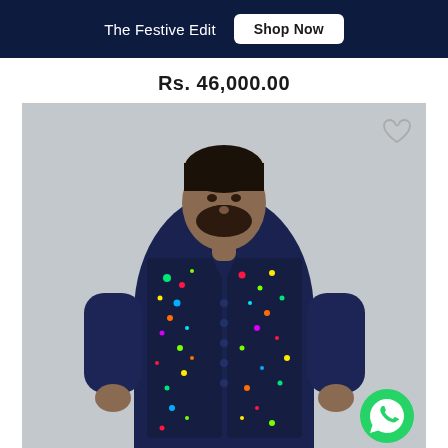The Festive Edit  Shop Now
Rs. 46,000.00
[Figure (photo): A man wearing a navy blue kurta with a colorful paint-splatter patterned Nehru jacket, standing against a light grey background. The outfit features multicolor (green, red, yellow, blue) splatter print on the dark navy jacket.]